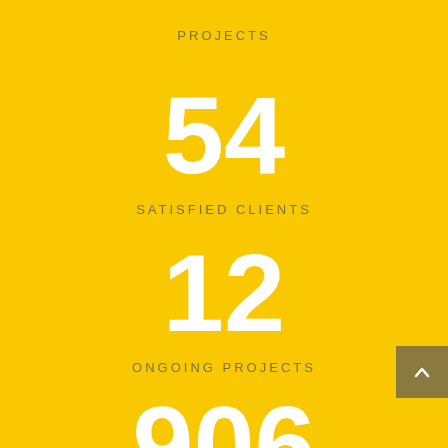PROJECTS
54
SATISFIED CLIENTS
12
ONGOING PROJECTS
906